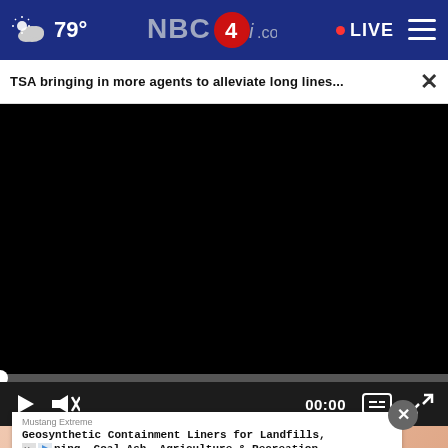79° NBC4i.com • LIVE
TSA bringing in more agents to alleviate long lines...
[Figure (screenshot): Black video player area with scrubber and controls showing 00:00 timestamp]
Mustang Extreme
Geosynthetic Containment Liners for Landfills, Mining, Coal Ash, Agriculture & Recreation.